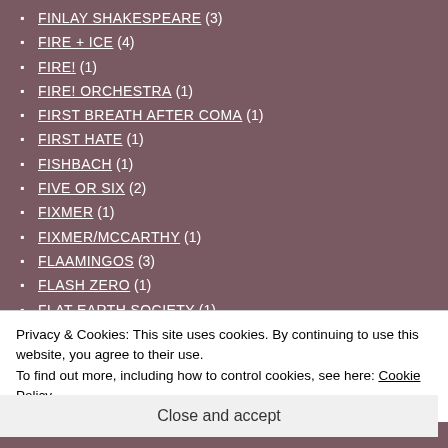FINLAY SHAKESPEARE (3)
FIRE + ICE (4)
FIRE! (1)
FIRE! ORCHESTRA (1)
FIRST BREATH AFTER COMA (1)
FIRST HATE (1)
FISHBACH (1)
FIVE OR SIX (2)
FIXMER (1)
FIXMER/MCCARTHY (1)
FLAAMINGOS (3)
FLASH ZERO (1)
FLAT EARTH SOCIETY (1)
FLAT WORMS (2)
FLAVIEN BERGER (1)
FLECHE LOVE (1)
Privacy & Cookies: This site uses cookies. By continuing to use this website, you agree to their use. To find out more, including how to control cookies, see here: Cookie Policy
Close and accept